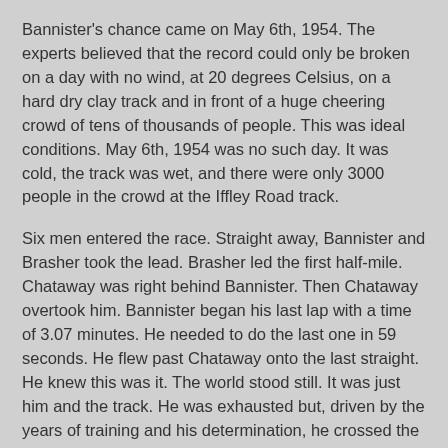Bannister's chance came on May 6th, 1954.  The experts believed that the record could only be broken on a day with no wind, at 20 degrees Celsius, on a hard dry clay track and in front of a huge cheering crowd of tens of thousands of people. This was ideal conditions.  May 6th, 1954 was no such day.  It was cold, the track was wet, and there were only 3000 people in the crowd at the Iffley Road track.
Six men entered the race. Straight away, Bannister and Brasher took the lead. Brasher led the first half-mile. Chataway was right behind Bannister. Then Chataway overtook him.  Bannister began his last lap with a time of 3.07 minutes. He needed to do the last one in 59 seconds. He flew past Chataway onto the last straight. He knew this was it. The world stood still. It was just him and the track.  He was exhausted but, driven by the years of training and his determination, he crossed the finish line and collapsed – exhausted.
The announcer said, “The time is three…” and then was drowned out by the cheers from the crowd.  Bannister had finished in 3:59.4, he had done it.  He'd broken the world